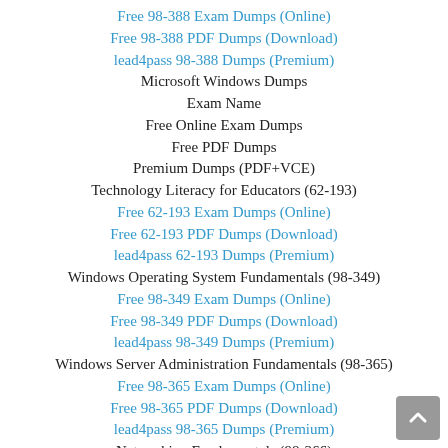Free 98-388 Exam Dumps (Online)
Free 98-388 PDF Dumps (Download)
lead4pass 98-388 Dumps (Premium)
Microsoft Windows Dumps
Exam Name
Free Online Exam Dumps
Free PDF Dumps
Premium Dumps (PDF+VCE)
Technology Literacy for Educators (62-193)
Free 62-193 Exam Dumps (Online)
Free 62-193 PDF Dumps (Download)
lead4pass 62-193 Dumps (Premium)
Windows Operating System Fundamentals (98-349)
Free 98-349 Exam Dumps (Online)
Free 98-349 PDF Dumps (Download)
lead4pass 98-349 Dumps (Premium)
Windows Server Administration Fundamentals (98-365)
Free 98-365 Exam Dumps (Online)
Free 98-365 PDF Dumps (Download)
lead4pass 98-365 Dumps (Premium)
Networking Fundamentals (98-366)
Free 98-366 Exam Dumps (Online)